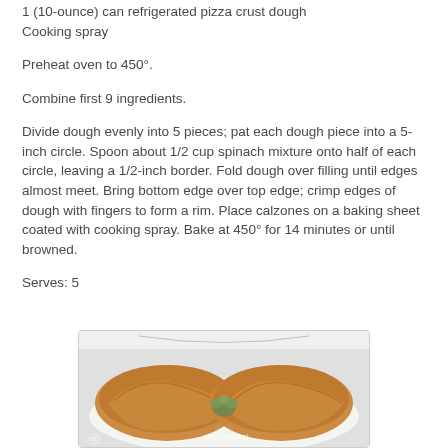1 (10-ounce) can refrigerated pizza crust dough
Cooking spray
Preheat oven to 450°.
Combine first 9 ingredients.
Divide dough evenly into 5 pieces; pat each dough piece into a 5-inch circle. Spoon about 1/2 cup spinach mixture onto half of each circle, leaving a 1/2-inch border. Fold dough over filling until edges almost meet. Bring bottom edge over top edge; crimp edges of dough with fingers to form a rim. Place calzones on a baking sheet coated with cooking spray. Bake at 450° for 14 minutes or until browned.
Serves: 5
[Figure (photo): Photo of two baked calzones on a white plate with a garnish of herbs/spinach in the center, watermarked with photobucket logo]